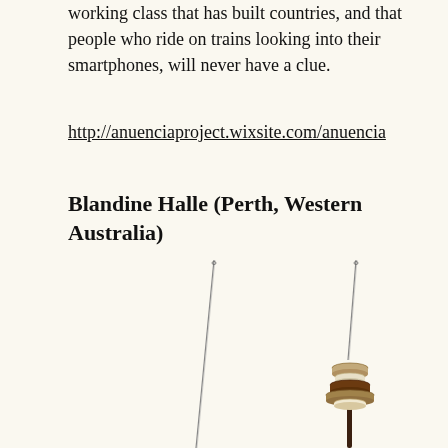working class that has built countries, and that people who ride on trains looking into their smartphones, will never have a clue.
http://anuenciaproject.wixsite.com/anuencia
Blandine Halle (Perth, Western Australia)
[Figure (photo): Two long thin needles photographed against white background. The right needle has stacked discs/buttons of various materials (wood, fabric, metal) threaded near its base, while the left needle is plain. Both needles extend upward out of frame.]